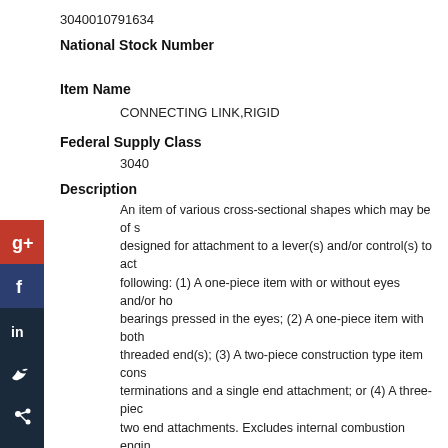3040010791634
National Stock Number
Item Name
CONNECTING LINK,RIGID
Federal Supply Class
3040
Description
An item of various cross-sectional shapes which may be of s... designed for attachment to a lever(s) and/or control(s) to act... following: (1) A one-piece item with or without eyes and/or ho... bearings pressed in the eyes; (2) A one-piece item with both... threaded end(s); (3) A two-piece construction type item cons... terminations and a single end attachment; or (4) A three-piec... two end attachments. Excludes internal combustion engin...